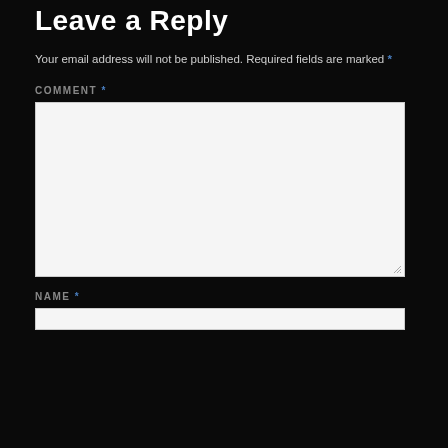Leave a Reply
Your email address will not be published. Required fields are marked *
COMMENT *
[comment textarea]
NAME *
[name input]